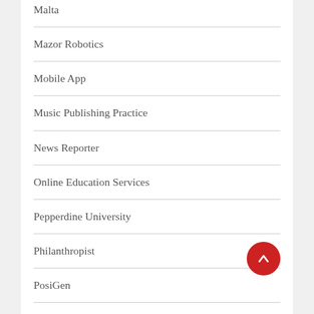Malta
Mazor Robotics
Mobile App
Music Publishing Practice
News Reporter
Online Education Services
Pepperdine University
Philanthropist
PosiGen
Property Leasing